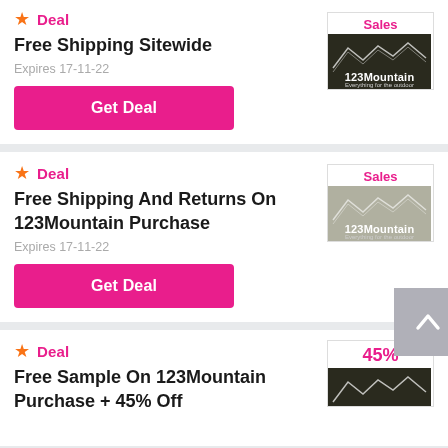Deal - Free Shipping Sitewide. Expires 17-11-22. Get Deal. Sales - 123Mountain
Deal - Free Shipping And Returns On 123Mountain Purchase. Expires 17-11-22. Get Deal. Sales - 123Mountain
Deal - Free Sample On 123Mountain Purchase + 45% Off